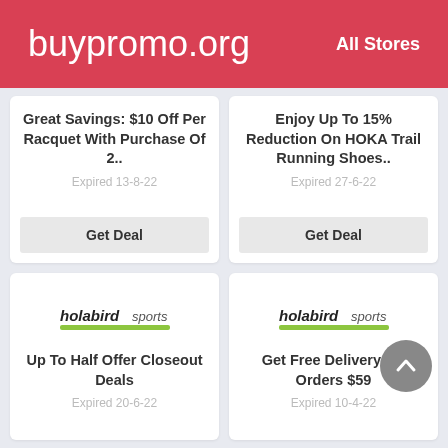buypromo.org   All Stores
Great Savings: $10 Off Per Racquet With Purchase Of 2..
Expired 13-8-22
Get Deal
Enjoy Up To 15% Reduction On HOKA Trail Running Shoes..
Expired 27-6-22
Get Deal
[Figure (logo): Holabird Sports logo]
Up To Half Offer Closeout Deals
Expired 20-6-22
[Figure (logo): Holabird Sports logo]
Get Free Delivery On Orders $59
Expired 10-4-22